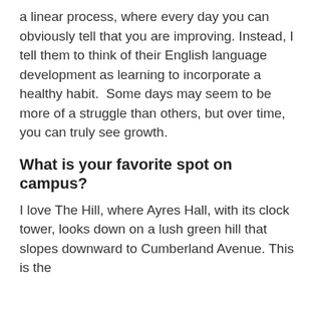a linear process, where every day you can obviously tell that you are improving. Instead, I tell them to think of their English language development as learning to incorporate a healthy habit.  Some days may seem to be more of a struggle than others, but over time, you can truly see growth.
What is your favorite spot on campus?
I love The Hill, where Ayres Hall, with its clock tower, looks down on a lush green hill that slopes downward to Cumberland Avenue. This is the